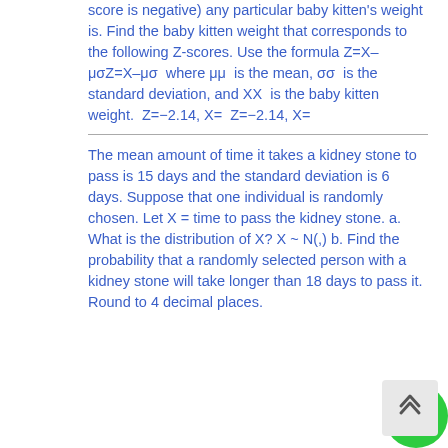score is negative) any particular baby kitten's weight is. Find the baby kitten weight that corresponds to the following Z-scores. Use the formula Z=X–μσZ=X–μσ  where μμ  is the mean, σσ  is the standard deviation, and XX  is the baby kitten weight.  Z=−2.14, X=  Z=−2.14, X=
The mean amount of time it takes a kidney stone to pass is 15 days and the standard deviation is 6 days. Suppose that one individual is randomly chosen. Let X = time to pass the kidney stone. a. What is the distribution of X? X ~ N(,) b. Find the probability that a randomly selected person with a kidney stone will take longer than 18 days to pass it. Round to 4 decimal places.